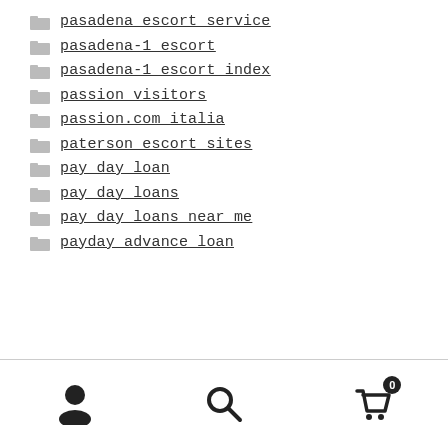pasadena escort service
pasadena-1 escort
pasadena-1 escort index
passion visitors
passion.com italia
paterson escort sites
pay day loan
pay day loans
pay day loans near me
payday advance loan
[user icon] [search icon] [cart icon with 0]